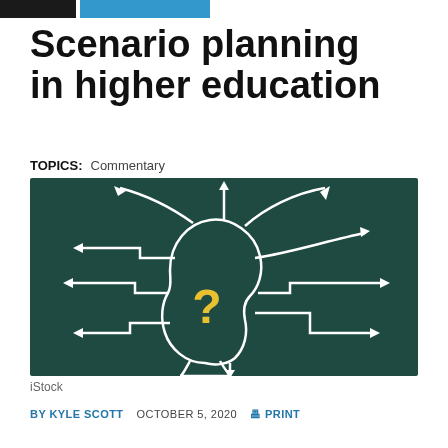Scenario planning in higher education
TOPICS: Commentary
[Figure (illustration): A dark teal/green chalkboard-style illustration of a human head silhouette in profile, filled with a yellow question mark. Multiple white arrows branch outward from the head in different directions, representing multiple scenarios or decision paths.]
iStock
BY KYLE SCOTT   OCTOBER 5, 2020   PRINT